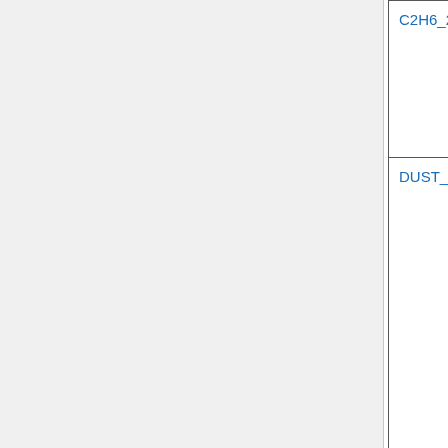| Name | Type | Description | Links |
| --- | --- | --- | --- |
| C2H6_2010 [ext] | Default | Removed unused lev dimension | H... 0... |
| DUST_DEAD | Optional | Changed longitude dimension format from integer to float and time units seconds string from '0.0' to '00' | H... 0... |
| UVALBEDO | Default | Changed seconds string in time dimension units ... | H... 0... |